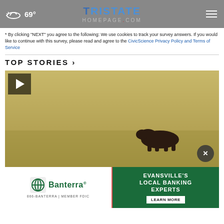69° | Tristate Homepage.com
* By clicking "NEXT" you agree to the following: We use cookies to track your survey answers. If you would like to continue with this survey, please read and agree to the CivicScience Privacy Policy and Terms of Service
TOP STORIES ›
[Figure (photo): Video thumbnail showing a bear silhouette running across a dusty/sandy field. Play button overlay in top-left corner. Close (X) button in bottom-right.]
[Figure (photo): Banterra Bank advertisement banner. Left side: Banterra logo with green text on white background, '866-BANTERRA | MEMBER FDIC'. Right side: green background with white text 'EVANSVILLE'S LOCAL BANKING EXPERTS' and 'LEARN MORE' button.]